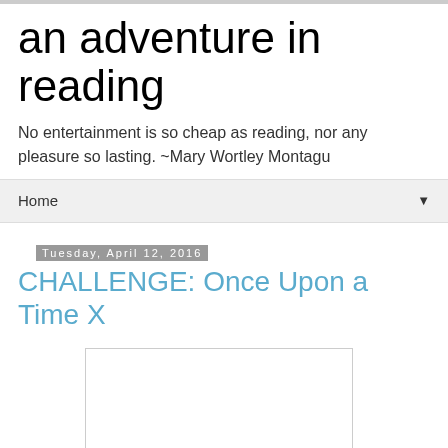an adventure in reading
No entertainment is so cheap as reading, nor any pleasure so lasting. ~Mary Wortley Montagu
Home ▼
Tuesday, April 12, 2016
CHALLENGE: Once Upon a Time X
[Figure (other): White rectangular image placeholder with a thin border]